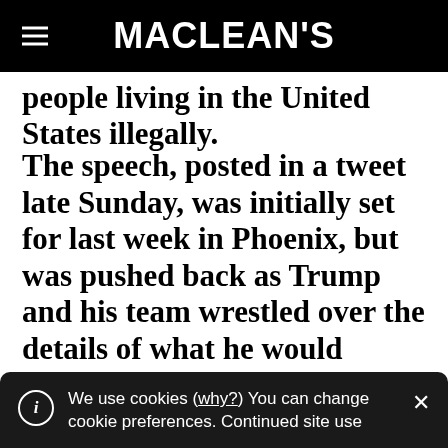MACLEAN'S
people living in the United States illegally.
The speech, posted in a tweet late Sunday, was initially set for last week in Phoenix, but was pushed back as Trump and his team wrestled over the details of what he would propose. There has been debate within his campaign about immigrants who haven't committed crimes beyond their immigration offences.
We use cookies (why?) You can change cookie preferences. Continued site use